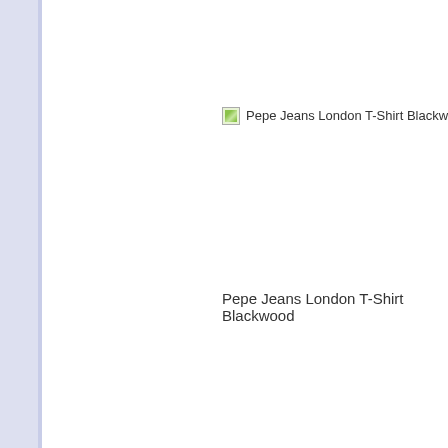[Figure (screenshot): Screenshot of a product listing page showing Pepe Jeans London T-Shirt Blackwood items with broken images and a Pinterest Save button overlay on the first item.]
Pepe Jeans London T-Shirt Blackwood
Pepe J...